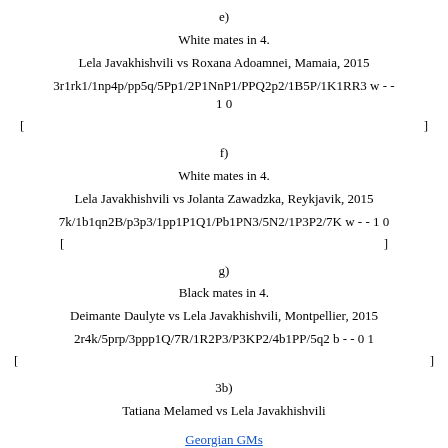e)
White mates in 4.
Lela Javakhishvili vs Roxana Adoamnei, Mamaia, 2015
3r1rk1/1np4p/pp5q/5Pp1/2P1NnP1/PPQ2p2/1B5P/1K1RR3 w - - 1 0
[                                                        ]
f)
White mates in 4.
Lela Javakhishvili vs Jolanta Zawadzka, Reykjavik, 2015
7k/1b1qn2B/p3p3/1pp1P1Q1/Pb1PN3/5N2/1P3P2/7K w - - 1 0
[                        ]
g)
Black mates in 4.
Deimante Daulyte vs Lela Javakhishvili, Montpellier, 2015
2r4k/5prp/3ppp1Q/7R/1R2P3/P3KP2/4b1PP/5q2 b - - 0 1
[                                                          ]
3b)
Tatiana Melamed vs Lela Javakhishvili
Georgian GMs
Back to the Index